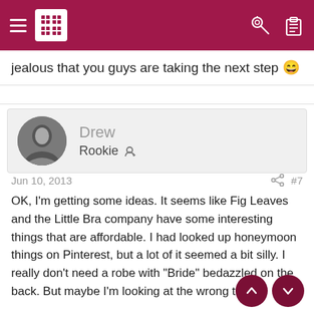[Navigation bar with hamburger menu, logo, key icon, clipboard icon]
jealous that you guys are taking the next step 😄
Drew
Rookie
Jun 10, 2013  #7
OK, I'm getting some ideas. It seems like Fig Leaves and the Little Bra company have some interesting things that are affordable. I had looked up honeymoon things on Pinterest, but a lot of it seemed a bit silly. I really don't need a robe with "Bride" bedazzled on the back. But maybe I'm looking at the wrong things.

We're in the Northeast, so we've been saving for longer than I can remember. So jealous of my friend in the Midwest. She bought a place a few years ago f[or less than] what our down payment will be.